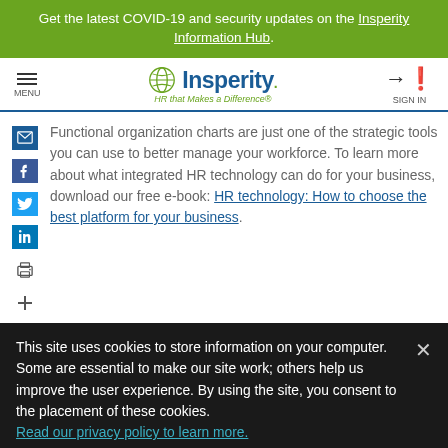Get the latest COVID-19 and security updates on the Insperity Information Hub.
[Figure (logo): Insperity logo with tagline 'HR that Makes a Difference']
Functional organization charts are just one of the strategic tools you can use to better manage your workforce. To learn more about what integrated HR technology can do for your business, download our free e-book: HR technology: How to choose the best platform for your business.
This site uses cookies to store information on your computer. Some are essential to make our site work; others help us improve the user experience. By using the site, you consent to the placement of these cookies. Read our privacy policy to learn more.